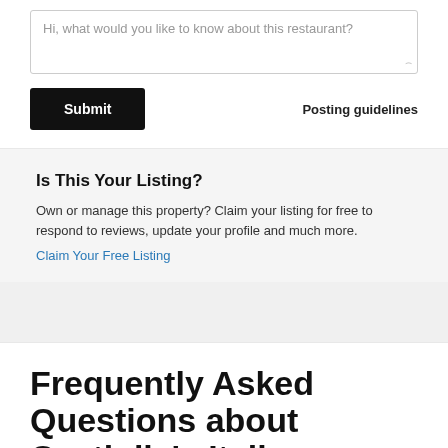Hi, what would you like to know about this restaurant?
Submit
Posting guidelines
Is This Your Listing?
Own or manage this property? Claim your listing for free to respond to reviews, update your profile and much more.
Claim Your Free Listing
Frequently Asked Questions about Castiglia's Italian Restaurant & Pizza